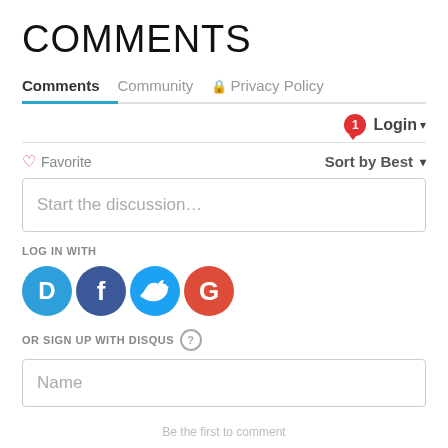COMMENTS
Comments   Community   🔒 Privacy Policy
❤ Favorite   Sort by Best ▾
Start the discussion…
LOG IN WITH
[Figure (illustration): Social login icons: Disqus (blue speech bubble with D), Facebook (dark blue circle with f), Twitter (light blue circle with bird), Google (red circle with G)]
OR SIGN UP WITH DISQUS ?
Name